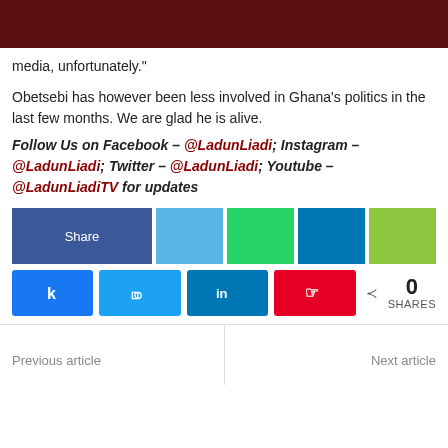media, unfortunately."
Obetsebi has however been less involved in Ghana's politics in the last few months. We are glad he is alive.
Follow Us on Facebook – @LadunLiadi; Instagram – @LadunLiadi; Twitter – @LadunLiadi; Youtube – @LadunLiadiTV for updates
[Figure (infographic): Social share buttons row: Share (Facebook blue), light blue, green, dark blue, lime green]
[Figure (infographic): Action buttons row: Facebook (k icon), Twitter (bird icon), LinkedIn (in icon), Pinterest (P icon), share icon with 0 SHARES count]
Previous article | Next article